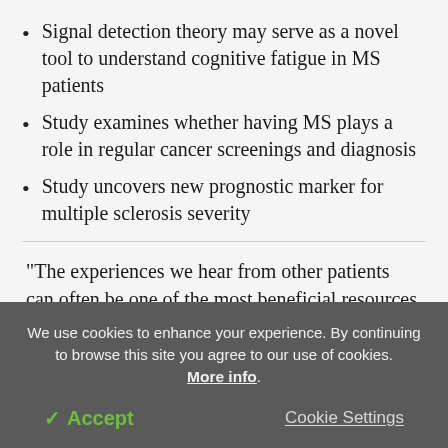Signal detection theory may serve as a novel tool to understand cognitive fatigue in MS patients
Study examines whether having MS plays a role in regular cancer screenings and diagnosis
Study uncovers new prognostic marker for multiple sclerosis severity
"The experiences we hear from other patients can often be one of the most beneficial resources to us," said Linda Edwards, an MS ActiveSource mentor who was
We use cookies to enhance your experience. By continuing to browse this site you agree to our use of cookies. More info.
✓ Accept
Cookie Settings